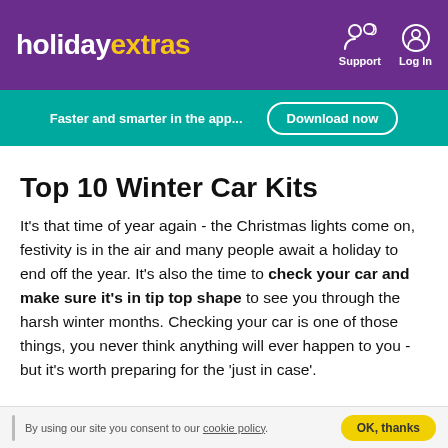holidayextras — Support, Log In navigation
Faster and smarter in the app... Download now
Top 10 Winter Car Kits
It's that time of year again - the Christmas lights come on, festivity is in the air and many people await a holiday to end off the year. It's also the time to check your car and make sure it's in tip top shape to see you through the harsh winter months. Checking your car is one of those things, you never think anything will ever happen to you - but it's worth preparing for the 'just in case'.
By using our site you consent to our cookie policy. OK, thanks